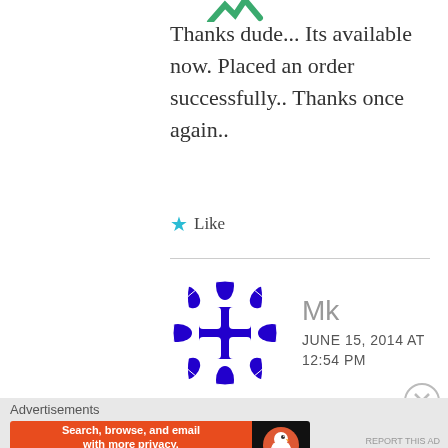[Figure (logo): Partial green logo/icon visible at top]
Thanks dude... Its available now. Placed an order successfully.. Thanks once again..
★ Like
[Figure (illustration): Blue and white geometric/checkerboard circular avatar for user Mk]
Mk
JUNE 15, 2014 AT 12:54 PM
Advertisements
[Figure (screenshot): DuckDuckGo advertisement banner: Search, browse, and email with more privacy. All in One Free App]